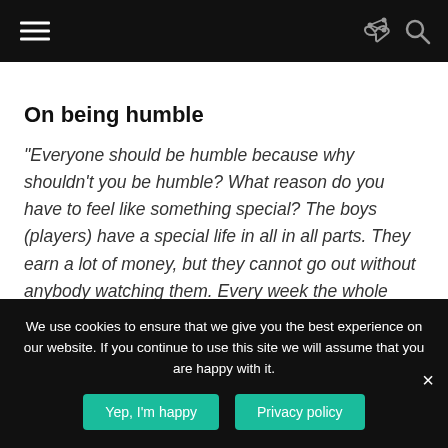Navigation bar with hamburger menu, share icon, and search icon
On being humble
“Everyone should be humble because why shouldn’t you be humble? What reason do you have to feel like something special? The boys (players) have a special life in all in all parts. They earn a lot of money, but they cannot go out without anybody watching them. Every week the whole world is watching them and they’re still very young.
We use cookies to ensure that we give you the best experience on our website. If you continue to use this site we will assume that you are happy with it.
Yep, I’m happy
Privacy policy